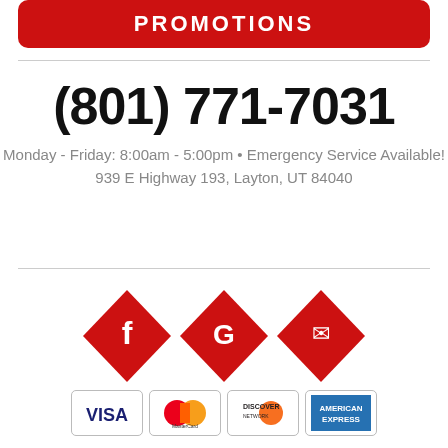[Figure (other): Red rounded rectangle button with white bold text PROMOTIONS]
(801) 771-7031
Monday - Friday: 8:00am - 5:00pm • Emergency Service Available!
939 E Highway 193, Layton, UT 84040
[Figure (other): Three red diamond icons with social media logos: Facebook (f), Google (G), and email (envelope)]
[Figure (other): Payment method logos: VISA, MasterCard, Discover, American Express]